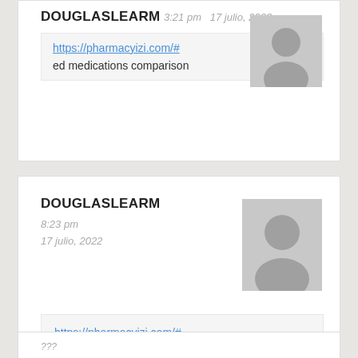DOUGLASLEARM
3:21 pm  17 julio, 2022
https://pharmacyizi.com/#
ed medications comparison
DOUGLASLEARM
8:23 pm
17 julio, 2022
https://pharmacyizi.com/#
erectile dysfunction remedies